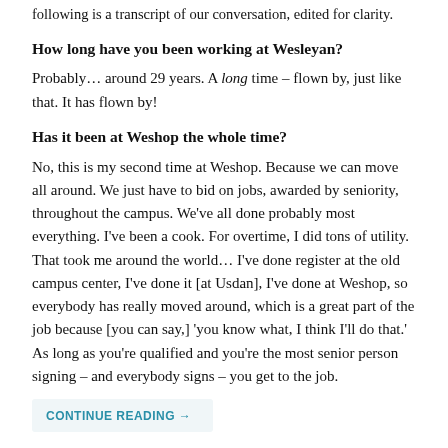following is a transcript of our conversation, edited for clarity.
How long have you been working at Wesleyan?
Probably… around 29 years. A long time – flown by, just like that. It has flown by!
Has it been at Weshop the whole time?
No, this is my second time at Weshop. Because we can move all around. We just have to bid on jobs, awarded by seniority, throughout the campus. We've all done probably most everything. I've been a cook. For overtime, I did tons of utility. That took me around the world… I've done register at the old campus center, I've done it [at Usdan], I've done at Weshop, so everybody has really moved around, which is a great part of the job because [you can say,] 'you know what, I think I'll do that.' As long as you're qualified and you're the most senior person signing – and everybody signs – you get to the job.
CONTINUE READING →